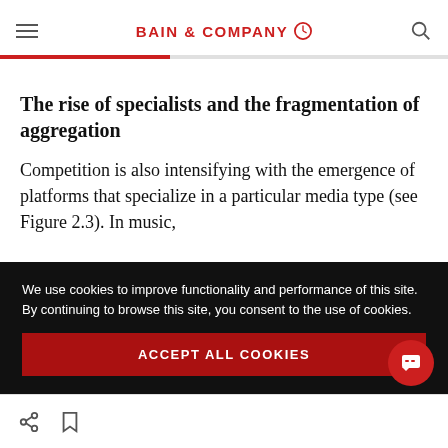BAIN & COMPANY
The rise of specialists and the fragmentation of aggregation
Competition is also intensifying with the emergence of platforms that specialize in a particular media type (see Figure 2.3). In music,
We use cookies to improve functionality and performance of this site. By continuing to browse this site, you consent to the use of cookies.
ACCEPT ALL COOKIES